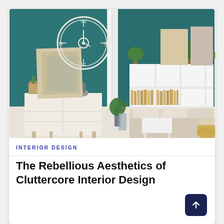[Figure (photo): Interior design photo of a bedroom/living area with deep teal walls, white open shelving unit filled with books and plants, a bed with beige linen, a white dresser/sideboard with wooden legs, a large decorative white clock on the wall, and various plants and decorative items throughout. A glass vase with greenery sits on the floor.]
INTERIOR DESIGN
The Rebellious Aesthetics of Cluttercore Interior Design